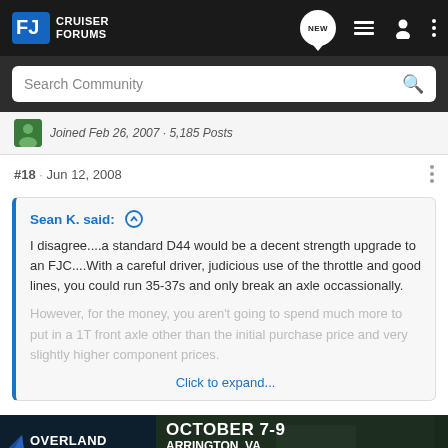CRUISER FORUMS
Search Community
Joined Feb 26, 2007 · 5,185 Posts
#18 · Jun 12, 2008
Sean K. said: ↑
I disagree....a standard D44 would be a decent strength upgrade to an FJC....With a careful driver, judicious use of the throttle and good lines, you could run 35-37s and only break an axle occassionally.

However, for the money, you aren't going to spend much more to put in a 1T front axle other than the initial purchase price and very slightly higher component prices.

Click to expand...
I think it... n a D44 is 8.75 w... e 1.25", which is...
[Figure (infographic): Overland Expo East 2022 advertisement banner. October 7-9, Arrington, VA. Plan Your Adventure button.]